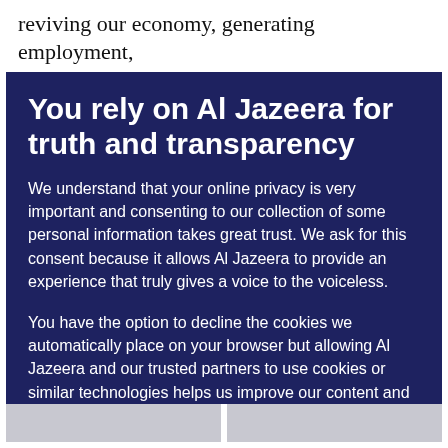reviving our economy, generating employment, eliminating hunger, ending the wanton killing of
You rely on Al Jazeera for truth and transparency
We understand that your online privacy is very important and consenting to our collection of some personal information takes great trust. We ask for this consent because it allows Al Jazeera to provide an experience that truly gives a voice to the voiceless.
You have the option to decline the cookies we automatically place on your browser but allowing Al Jazeera and our trusted partners to use cookies or similar technologies helps us improve our content and offerings to you. You can change your privacy preferences at any time by selecting ‘Cookie preferences’ at the bottom of your screen. To learn more, please view our Cookie Policy.